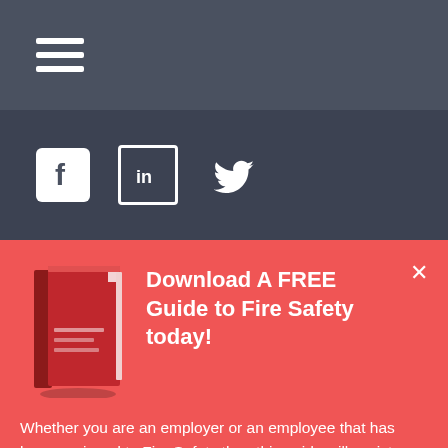[Figure (illustration): Hamburger menu icon with three white horizontal bars on dark grey background]
[Figure (illustration): Social media icons: Facebook (white 'f' on white square), LinkedIn (white 'in' on outlined square), Twitter (white bird icon), all on darker grey background]
Download A FREE Guide to Fire Safety today!
Whether you are an employer or an employee that has been assigned to Fire Safety then this guide will assist you in learning more.
Download Now